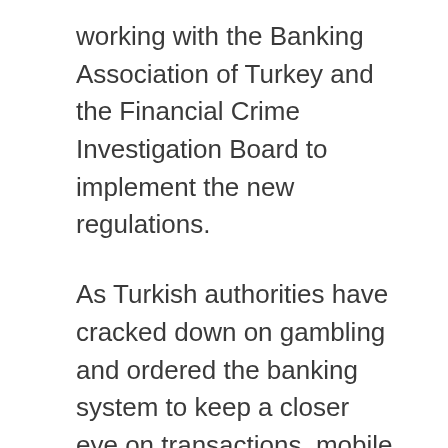working with the Banking Association of Turkey and the Financial Crime Investigation Board to implement the new regulations.
As Turkish authorities have cracked down on gambling and ordered the banking system to keep a closer eye on transactions, mobile payments of this sort have become popular for gamblers. This is a classic case of authorities squeezing one side of the balloon and watching the other side bulge – for every action, there is a reaction.